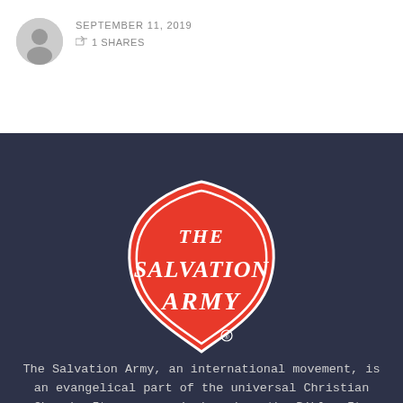SEPTEMBER 11, 2019
⇈ 1 SHARES
[Figure (logo): The Salvation Army shield logo in red with white text reading THE SALVATION ARMY on a dark navy background]
The Salvation Army Mission Statement
The Salvation Army, an international movement, is an evangelical part of the universal Christian Church. Its message is based on the Bible. Its ministry is motivated by